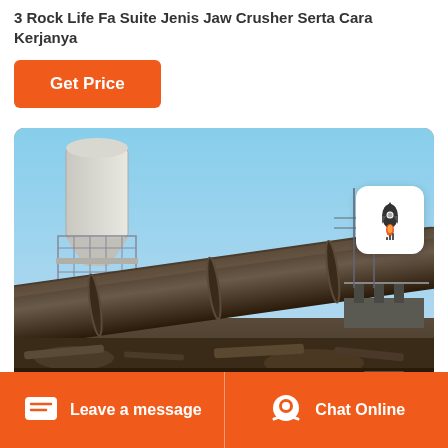3 Rock Life Fa Suite Jenis Jaw Crusher Serta Cara Kerjanya
Get Price
[Figure (photo): Industrial rotary kiln or large cylindrical drum machinery at a mining or cement plant facility, with a tall silo structure visible on the left side and industrial scaffolding. The large metal pipe/drum is angled diagonally. There is a small floating badge with a rocket icon in the upper right of the image.]
Leave a message   Chat Online